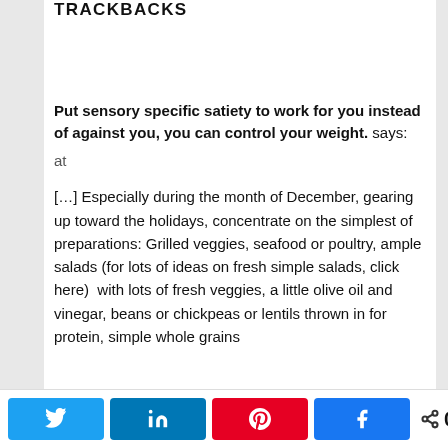TRACKBACKS
Put sensory specific satiety to work for you instead of against you, you can control your weight. says:
at
[…] Especially during the month of December, gearing up toward the holidays, concentrate on the simplest of preparations: Grilled veggies, seafood or poultry, ample salads (for lots of ideas on fresh simple salads, click here)  with lots of fresh veggies, a little olive oil and vinegar, beans or chickpeas or lentils thrown in for protein, simple whole grains
[Figure (other): Social sharing bar with Twitter, LinkedIn, Pinterest, Facebook buttons and a share count of 0 SHARES]